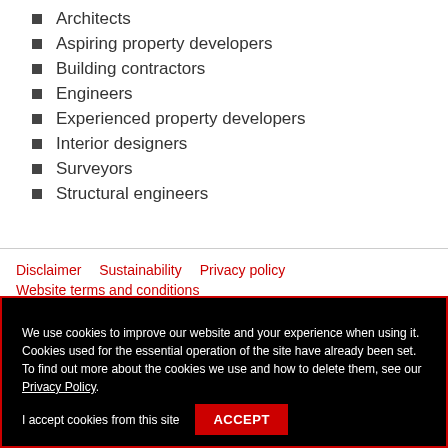Architects
Aspiring property developers
Building contractors
Engineers
Experienced property developers
Interior designers
Surveyors
Structural engineers
Disclaimer  Sustainability  Privacy policy  Website terms and conditions
We use cookies to improve our website and your experience when using it. Cookies used for the essential operation of the site have already been set. To find out more about the cookies we use and how to delete them, see our Privacy Policy.

I accept cookies from this site  ACCEPT